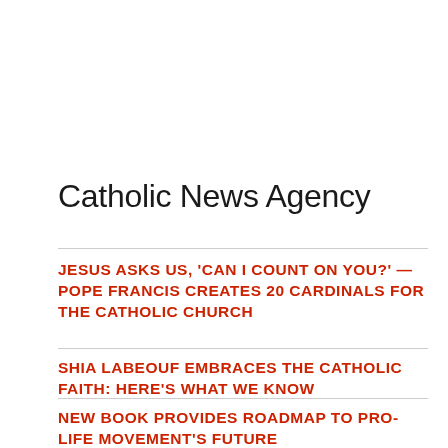Catholic News Agency
JESUS ASKS US, 'CAN I COUNT ON YOU?' — POPE FRANCIS CREATES 20 CARDINALS FOR THE CATHOLIC CHURCH
SHIA LABEOUF EMBRACES THE CATHOLIC FAITH: HERE'S WHAT WE KNOW
NEW BOOK PROVIDES ROADMAP TO PRO-LIFE MOVEMENT'S FUTURE